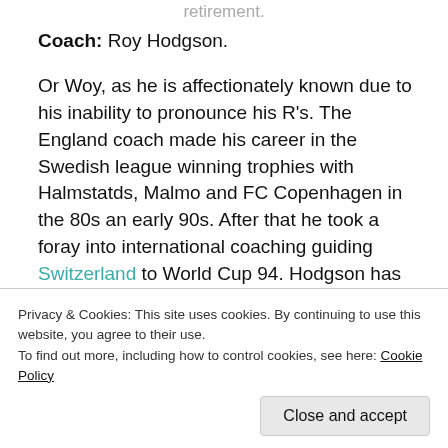retirement.
Coach: Roy Hodgson.
Or Woy, as he is affectionately known due to his inability to pronounce his R's. The England coach made his career in the Swedish league winning trophies with Halmstatds, Malmo and FC Copenhagen in the 80s an early 90s. After that he took a foray into international coaching guiding Switzerland to World Cup 94. Hodgson has also taken the helm with UAE and Finland. In England he guided Fulham to the Europa League final
Privacy & Cookies: This site uses cookies. By continuing to use this website, you agree to their use. To find out more, including how to control cookies, see here: Cookie Policy
Close and accept
Despite convincingly qualifying for the last two major